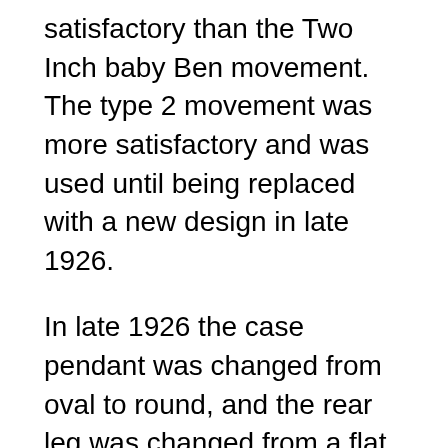satisfactory than the Two Inch baby Ben movement. The type 2 movement was more satisfactory and was used until being replaced with a new design in late 1926.
In late 1926 the case pendant was changed from oval to round, and the rear leg was changed from a flat to a rounded end. A new movement was phased into production during late 1926 and early 1927. The alarm barrel was changed from a going barrel to a winding barrel, and the alarm winding direction was changed to clockwise. The gearing was modified to change the beat rate from 15,000 beats per hour to 14,400 beats per hour. This movement, with and minor changes, remained in production through 1960, when it was replaced by the single key wind Baby Ben movement.